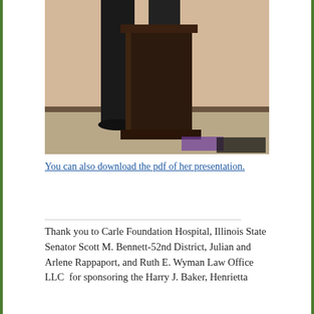[Figure (photo): A person standing at a dark wooden podium against a beige/peach wall. Only the lower body is visible, wearing black pants and black shoes.]
You can also download the pdf of her presentation.
Thank you to Carle Foundation Hospital, Illinois State Senator Scott M. Bennett-52nd District, Julian and Arlene Rappaport, and Ruth E. Wyman Law Office LLC  for sponsoring the Harry J. Baker, Henrietta